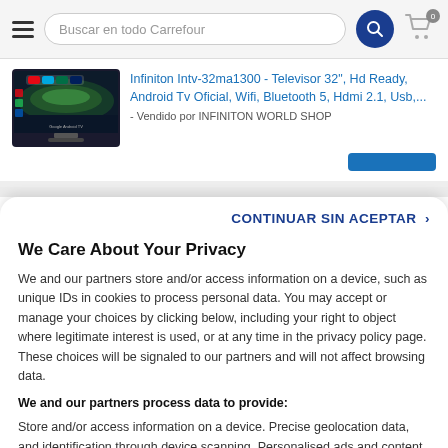Buscar en todo Carrefour
Infiniton Intv-32ma1300 - Televisor 32", Hd Ready, Android Tv Oficial, Wifi, Bluetooth 5, Hdmi 2.1, Usb,... - Vendido por INFINITON WORLD SHOP
CONTINUAR SIN ACEPTAR
We Care About Your Privacy
We and our partners store and/or access information on a device, such as unique IDs in cookies to process personal data. You may accept or manage your choices by clicking below, including your right to object where legitimate interest is used, or at any time in the privacy policy page. These choices will be signaled to our partners and will not affect browsing data.
We and our partners process data to provide:
Store and/or access information on a device. Precise geolocation data, and identification through device scanning. Personalised ads and content, ad and content measurement, audience insights and product development.